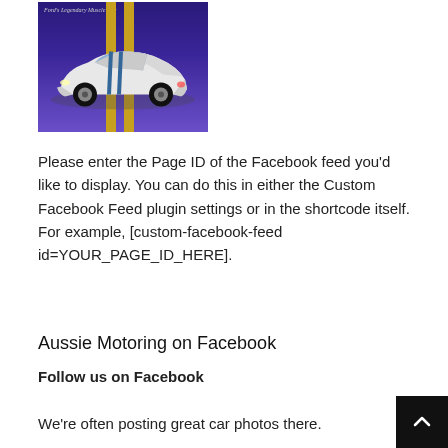[Figure (photo): Ford's Legendary Muscle Car — a white Ford Mustang Shelby GT350 with blue racing stripes, photographed against a dark purple/blue background with yellow racing stripes]
Please enter the Page ID of the Facebook feed you'd like to display. You can do this in either the Custom Facebook Feed plugin settings or in the shortcode itself. For example, [custom-facebook-feed id=YOUR_PAGE_ID_HERE].
Aussie Motoring on Facebook
Follow us on Facebook
We're often posting great car photos there.